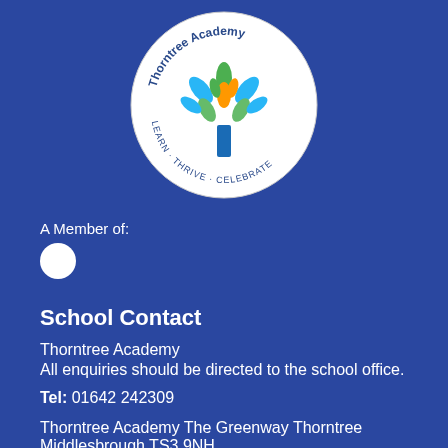[Figure (logo): Thorntree Academy circular logo with a colorful tree design and text 'LEARN · THRIVE · CELEBRATE']
A Member of:
School Contact
Thorntree Academy
All enquiries should be directed to the school office.

Tel: 01642 242309

Thorntree Academy The Greenway Thorntree
Middlesbrough TS3 9NH